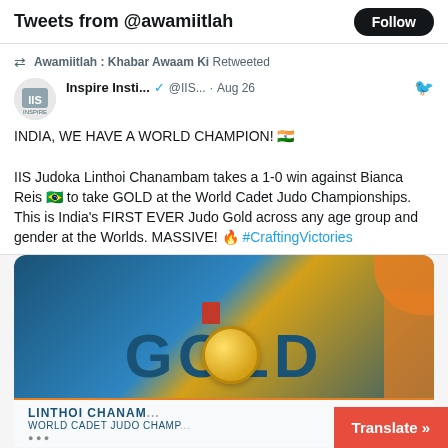Tweets from @awamiitlah
Awamiitlah : Khabar Awaam Ki Retweeted
Inspire Insti... ✓ @IIS... · Aug 26
INDIA, WE HAVE A WORLD CHAMPION! 🇮🇳

IIS Judoka Linthoi Chanambam takes a 1-0 win against Bianca Reis 🇧🇷 to take GOLD at the World Cadet Judo Championships. This is India's FIRST EVER Judo Gold across any age group and gender at the Worlds. MASSIVE! 🔥 #CraftingVictories
[Figure (photo): Gold medal graphic showing the word GOLD with a gold medal overlaid on the letter O, and the text LINTHOI CHANAM... WORLD CADET JUDO CHAMP...]
Translate »